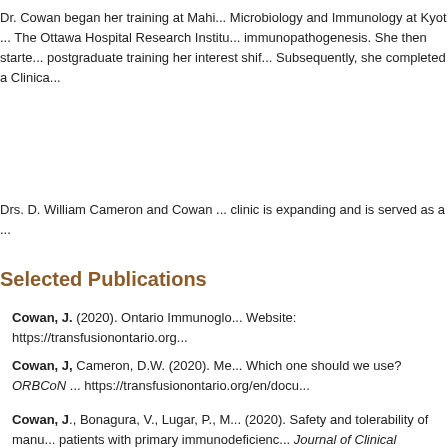Dr. Cowan began her training at Mahi... Microbiology and Immunology at Kyot... The Ottawa Hospital Research Institu... immunopathogenesis. She then starte... postgraduate training her interest shif... Subsequently, she completed a Clinica...
Drs. D. William Cameron and Cowan ... clinic is expanding and is served as a...
Selected Publications
Cowan, J. (2020). Ontario Immunoglo... Website: https://transfusionontario.org...
Cowan, J, Cameron, D.W. (2020). Me... Which one should we use? ORBCoN ... https://transfusionontario.org/en/docu...
Cowan, J., Bonagura, V., Lugar, P., M... (2020). Safety and tolerability of manu... patients with primary immunodeficienc... Journal of Clinical Immunology. 40(7):...
Cowan, J., Bennett, A., Fergusson, N...